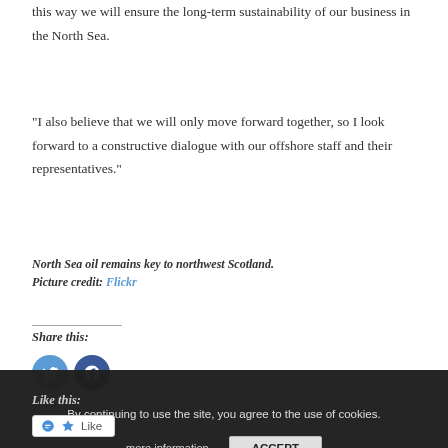this way we will ensure the long-term sustainability of our business in the North Sea.
“I also believe that we will only move forward together, so I look forward to a constructive dialogue with our offshore staff and their representatives.”
North Sea oil remains key to northwest Scotland. Picture credit: Flickr
Share this:
By continuing to use the site, you agree to the use of cookies.
Like this: